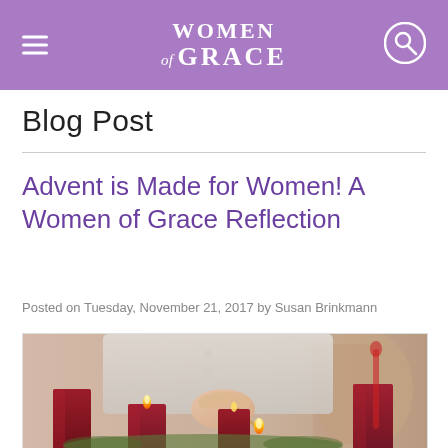Women of Grace
Blog Post
Advent is Made for Women! A Women of Grace Reflection
Posted on Tuesday, November 21, 2017 by Susan Brinkmann
[Figure (photo): A woman lighting Advent candles. Four large dark red pillar candles arranged in a row, with a hand holding a lit match to one of the candles. Christmas decorations in background.]